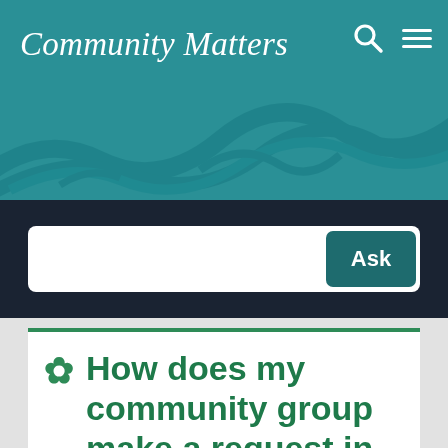Community Matters
Ask
How does my community group make a request in the grants management